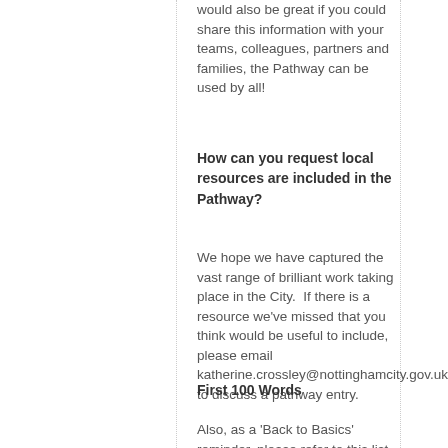would also be great if you could share this information with your teams, colleagues, partners and families, the Pathway can be used by all!
How can you request local resources are included in the Pathway?
We hope we have captured the vast range of brilliant work taking place in the City.  If there is a resource we've missed that you think would be useful to include, please email katherine.crossley@nottinghamcity.gov.uk to discuss a pathway entry.
First 100 Words
Also, as a 'Back to Basics' reminder, please refer to this list identifying the